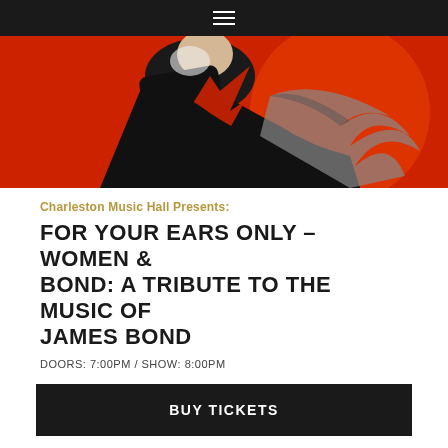☰
[Figure (illustration): James Bond themed poster with black and white figure in black clothes against a red background with dramatic abstract elements]
Charleston Music Hall Presents:
FOR YOUR EARS ONLY – WOMEN & BOND: A TRIBUTE TO THE MUSIC OF JAMES BOND
DOORS: 7:00PM / SHOW: 8:00PM
BUY TICKETS
MORE INFO